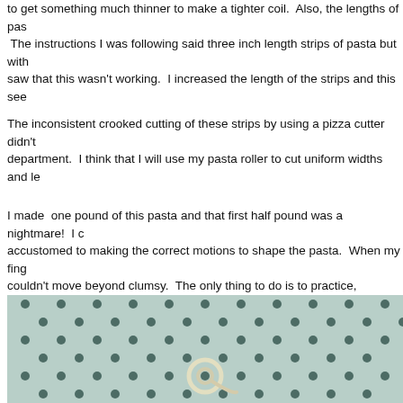to get something much thinner to make a tighter coil.  Also, the lengths of pa...  The instructions I was following said three inch length strips of pasta but with... saw that this wasn't working.  I increased the length of the strips and this see...
The inconsistent crooked cutting of these strips by using a pizza cutter didn't... department.  I think that I will use my pasta roller to cut uniform widths and le...
I made  one pound of this pasta and that first half pound was a nightmare!  I ... accustomed to making the correct motions to shape the pasta.  When my fing... couldn't move beyond clumsy.  The only thing to do is to practice, practice, pr...
[Figure (photo): A close-up photo of a perforated metal surface (silver/grey with dark circular holes in a regular grid pattern), with a small coiled pasta piece (fusilli or similar spiral shape) resting on the surface near the center-bottom of the image.]